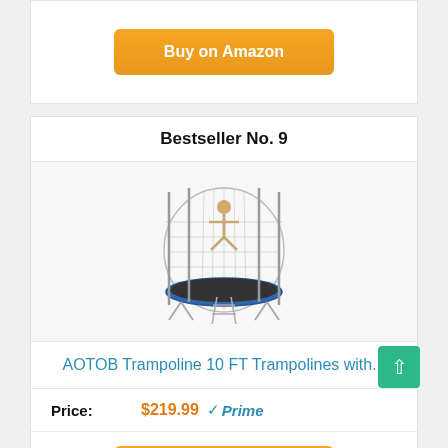Buy on Amazon
Bestseller No. 9
[Figure (photo): Photo of AOTOB 10 FT trampoline with safety enclosure net and ladder]
AOTOB Trampoline 10 FT Trampolines with...
| Price: | $219.99 | Prime |
| --- | --- | --- |
Buy on Amazon
Bestseller No. 10